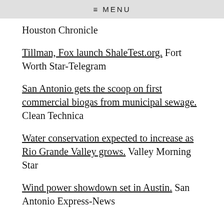≡ MENU
Houston Chronicle
Tillman, Fox launch ShaleTest.org. Fort Worth Star-Telegram
San Antonio gets the scoop on first commercial biogas from municipal sewage. Clean Technica
Water conservation expected to increase as Rio Grande Valley grows. Valley Morning Star
Wind power showdown set in Austin. San Antonio Express-News